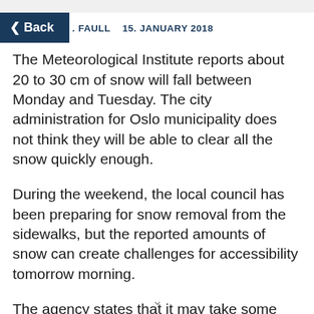< Back
. FAULL   15. JANUARY 2018
The Meteorological Institute reports about 20 to 30 cm of snow will fall between Monday and Tuesday. The city administration for Oslo municipality does not think they will be able to clear all the snow quickly enough.
During the weekend, the local council has been preparing for snow removal from the sidewalks, but the reported amounts of snow can create challenges for accessibility tomorrow morning.
The agency states that it may take some extra ti...